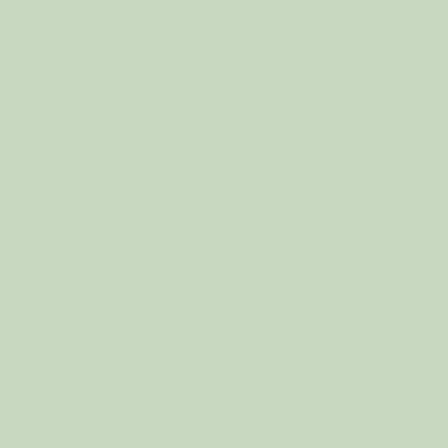högtider
HiD1BFrHovB — Historisk d Hovbalett
HiD1FrHovBMu — Historisk d Hovbalett
HiD1M — Historisk d
HiD1MFest — Historisk d Teater etc
HiD1MKm — Historisk d Översättni
HiD1MNot — Historisk d
HiD1RAoB — Historisk d
HiD1Real — Historisk d
HiD1REst — Historisk d
HiD1RItFest — Historisk d Föreställni
HiD1RItKm1 — Historisk d tal - Källm
HiD1RItKm2 — Historisk d Dansmäst
HiD1RPed — Historisk d material
HiD1ROvr — Historisk d
HiD2BFr — Historisk d
HiD2BFrBio — Historisk d Dansar-/B
HiD2BFrEst — Historisk d
HiD2BFrFet — Historisk d
HiD2BFrKm1 — Historisk d Källmateri